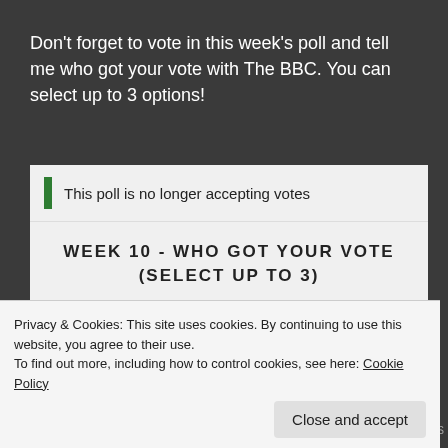Don't forget to vote in this week's poll and tell me who got your vote with The BBC. You can select up to 3 options!
This poll is no longer accepting votes
WEEK 10 - WHO GOT YOUR VOTE (SELECT UP TO 3)
Rose and Giovanni  30.29% (33816 votes)
[Figure (infographic): Black progress bar representing 30.29% votes for Rose and Giovanni]
Privacy & Cookies: This site uses cookies. By continuing to use this website, you agree to their use.
To find out more, including how to control cookies, see here: Cookie Policy
Close and accept